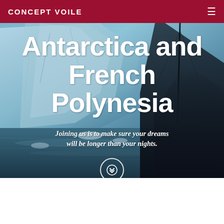CONCEPT VOILE
Antarctica and French Polynesia
Joining us is to make sure your dreams will be longer than your nights.
[Figure (photo): Hero background photograph of a sailboat near icy Antarctic glaciers with blue-grey tones. A dark sailboat silhouette is visible on the right side against icy blue glacial walls and water.]
[Figure (illustration): Circular scroll-down button with double chevron (>>) icon, white circle outline on semi-transparent background over the hero image.]